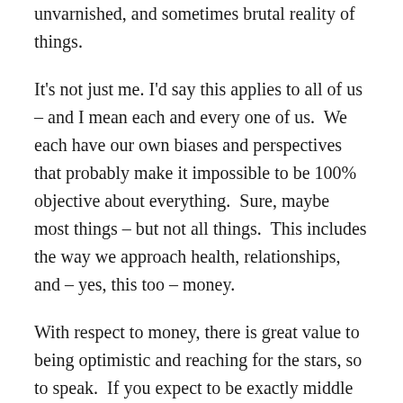unvarnished, and sometimes brutal reality of things.
It's not just me. I'd say this applies to all of us – and I mean each and every one of us.  We each have our own biases and perspectives that probably make it impossible to be 100% objective about everything.  Sure, maybe most things – but not all things.  This includes the way we approach health, relationships, and – yes, this too – money.
With respect to money, there is great value to being optimistic and reaching for the stars, so to speak.  If you expect to be exactly middle class, you won't be wealthy.  If you expect to be wealthy, you have a chance to get there but you still might be middle class.  Having expectations and aligning behavior accordingly, is better than giving up before you start.